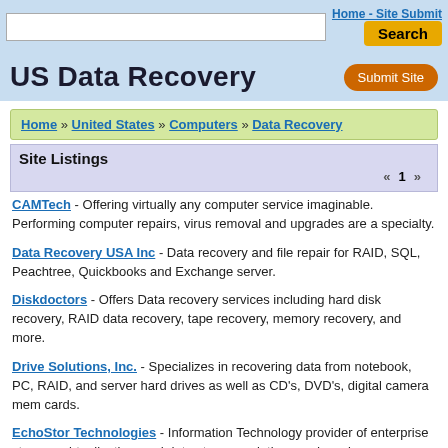Home - Site Submit  Search
US Data Recovery
Home » United States » Computers » Data Recovery
Site Listings
« 1 »
CAMTech - Offering virtually any computer service imaginable. Performing computer repairs, virus removal and upgrades are a specialty.
Data Recovery USA Inc - Data recovery and file repair for RAID, SQL, Peachtree, Quickbooks and Exchange server.
Diskdoctors - Offers Data recovery services including hard disk recovery, RAID data recovery, tape recovery, memory recovery, and more.
Drive Solutions, Inc. - Specializes in recovering data from notebook, PC, RAID, and server hard drives as well as CD's, DVD's, digital camera mem cards.
EchoStor Technologies - Information Technology provider of enterprise storage, virtualization, and data storage solutions and services.